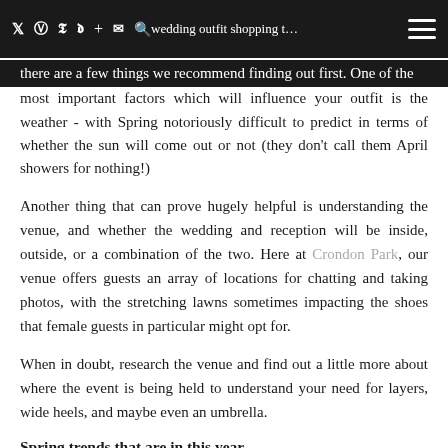[Navigation bar with social icons and menu]
Before you start planning your wedding outfit shopping there are a few things we recommend finding out first. One of the most important factors which will influence your outfit is the weather - with Spring notoriously difficult to predict in terms of whether the sun will come out or not (they don't call them April showers for nothing!)
Another thing that can prove hugely helpful is understanding the venue, and whether the wedding and reception will be inside, outside, or a combination of the two. Here at Crondon Park, our venue offers guests an array of locations for chatting and taking photos, with the stretching lawns sometimes impacting the shoes that female guests in particular might opt for.
When in doubt, research the venue and find out a little more about where the event is being held to understand your need for layers, wide heels, and maybe even an umbrella.
Spring trends that are in this year
Once you understand the venue and know what you need to ensure you are comfortable and warm throughout the event, it's time to go